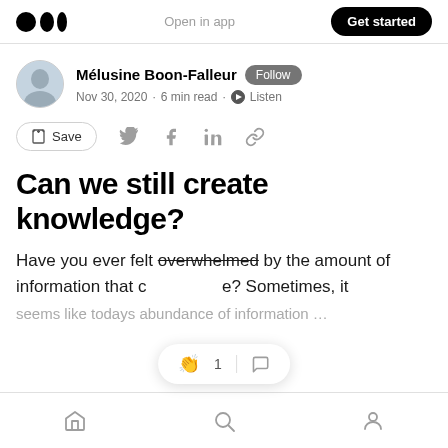Open in app  Get started
Mélusine Boon-Falleur  Follow
Nov 30, 2020 · 6 min read · Listen
Save
Can we still create knowledge?
Have you ever felt overwhelmed by the amount of information that comes your way? Sometimes, it seems like...
Home  Search  Profile